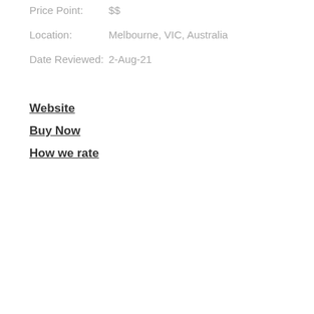Price Point: $$
Location: Melbourne, VIC, Australia
Date Reviewed: 2-Aug-21
Website
Buy Now
How we rate